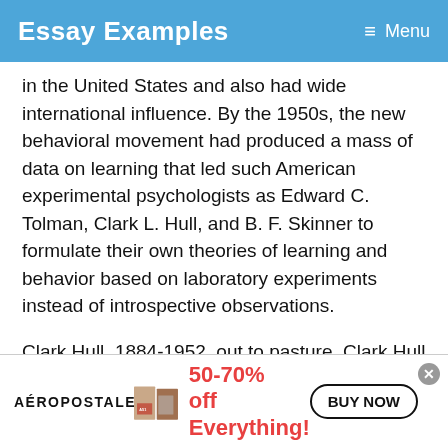Essay Examples
in the United States and also had wide international influence. By the 1950s, the new behavioral movement had produced a mass of data on learning that led such American experimental psychologists as Edward C. Tolman, Clark L. Hull, and B. F. Skinner to formulate their own theories of learning and behavior based on laboratory experiments instead of introspective observations.
Clark Hull, 1884-1952, out to pasture. Clark Hull grew up handicapped and contracted polio at the age of 24, yet he still became one of the great…
[Figure (photo): Aeropostale advertisement banner showing two models wearing Aeropostale clothing, with text '50-70% off Everything!' and a 'BUY NOW' button]